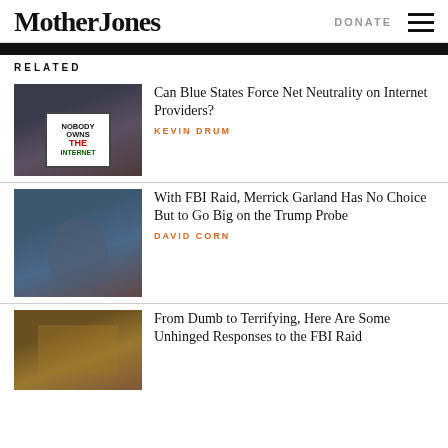Mother Jones | DONATE
RELATED
[Figure (photo): Protest sign reading 'Nobody Owns The Internet']
Can Blue States Force Net Neutrality on Internet Providers?
KEVIN DRUM
[Figure (photo): Merrick Garland speaking at podium with Department of Justice backdrop]
With FBI Raid, Merrick Garland Has No Choice But to Go Big on the Trump Probe
DAVID CORN
[Figure (photo): Ornate room with chandeliers, formal gathering]
From Dumb to Terrifying, Here Are Some Unhinged Responses to the FBI Raid